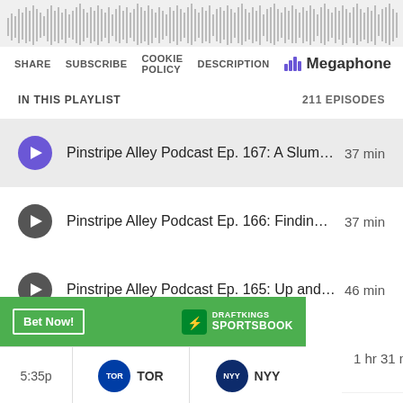[Figure (other): Audio waveform visualization at the top of a podcast player]
SHARE  SUBSCRIBE  COOKIE POLICY  DESCRIPTION  Megaphone
IN THIS PLAYLIST    211 EPISODES
Pinstripe Alley Podcast Ep. 167: A Slum…  37 min
Pinstripe Alley Podcast Ep. 166: Findin…  37 min
Pinstripe Alley Podcast Ep. 165: Up and…  46 min
PSA Twittercast Ep. 5: Montas, Triv…  1 hr 31 min
Pinstripe Alley Podcast Ep. 164: Super …  29 min
[Figure (other): DraftKings Sportsbook advertisement banner with Bet Now button, TOR vs NYY game listing at 5:35p]